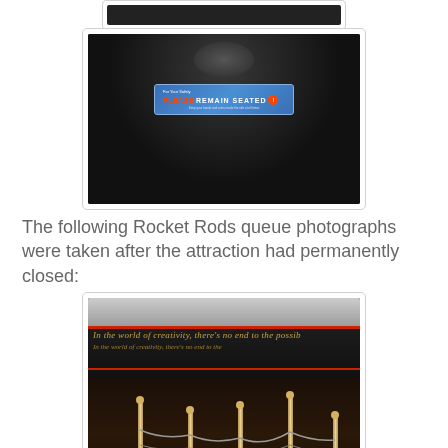[Figure (photo): Partial top of a dark photo, cropped at top of page]
[Figure (photo): Photo of interior of ride vehicle showing a blue 'REMAIN SEATED' safety sign on a dark wall/ceiling]
The following Rocket Rods queue photographs were taken after the attraction had permanently closed:
[Figure (photo): Dark photo of the Rocket Rods queue area after closure, showing silver rope stanchions and queue barriers with text on a dark monorail-style structure reading 'In the world of creativity, there's no end to the possib[ilities]']